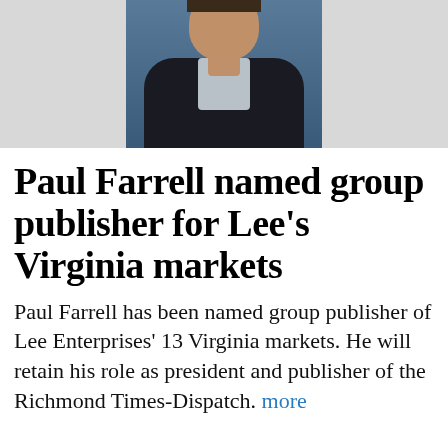[Figure (photo): Headshot of Paul Farrell, a man in a dark suit jacket, photographed against a blue background. Only the lower portion of the face and torso are visible, cropped at the top.]
Paul Farrell named group publisher for Lee's Virginia markets
Paul Farrell has been named group publisher of Lee Enterprises' 13 Virginia markets. He will retain his role as president and publisher of the Richmond Times-Dispatch. more